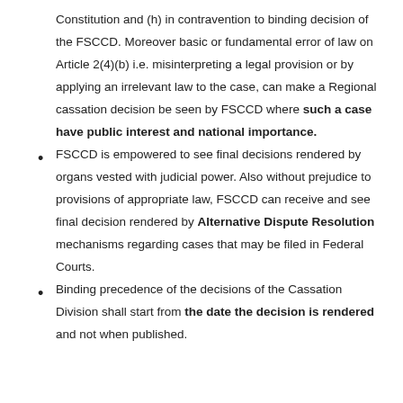Constitution and (h) in contravention to binding decision of the FSCCD. Moreover basic or fundamental error of law on Article 2(4)(b) i.e. misinterpreting a legal provision or by applying an irrelevant law to the case, can make a Regional cassation decision be seen by FSCCD where such a case have public interest and national importance.
FSCCD is empowered to see final decisions rendered by organs vested with judicial power. Also without prejudice to provisions of appropriate law, FSCCD can receive and see final decision rendered by Alternative Dispute Resolution mechanisms regarding cases that may be filed in Federal Courts.
Binding precedence of the decisions of the Cassation Division shall start from the date the decision is rendered and not when published.